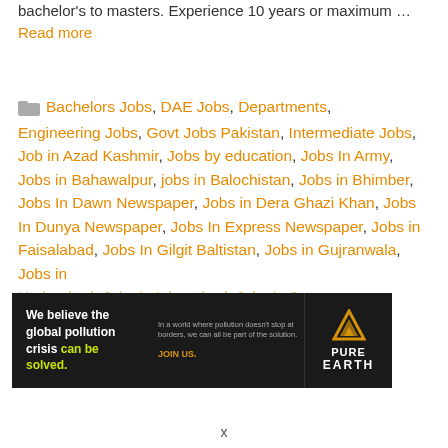bachelor's to masters. Experience 10 years or maximum … Read more
Bachelors Jobs, DAE Jobs, Departments, Engineering Jobs, Govt Jobs Pakistan, Intermediate Jobs, Job in Azad Kashmir, Jobs by education, Jobs In Army, Jobs in Bahawalpur, jobs in Balochistan, Jobs in Bhimber, Jobs In Dawn Newspaper, Jobs in Dera Ghazi Khan, Jobs In Dunya Newspaper, Jobs In Express Newspaper, Jobs in Faisalabad, Jobs In Gilgit Baltistan, Jobs in Gujranwala, Jobs in Hyderabad, Jobs in Islamabad, Jobs in Jang ...
[Figure (infographic): Pure Earth advertisement banner: 'We believe the global pollution crisis can be solved. In a world where pollution doesn't stop at borders, we can all be part of the solution. JOIN US.' with Pure Earth logo on the right.]